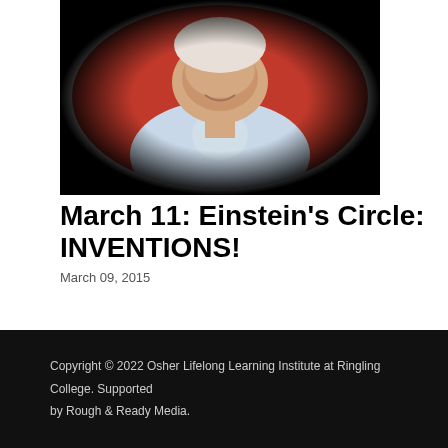[Figure (photo): Circular portrait photo of a smiling older man in a light blue button-up shirt, seated in front of red chairs, with a circular vignette/spotlight effect.]
March 11: Einstein's Circle: INVENTIONS!
March 09, 2015
Copyright © 2022 Osher Lifelong Learning Institute at Ringling College. Supported by Rough & Ready Media.